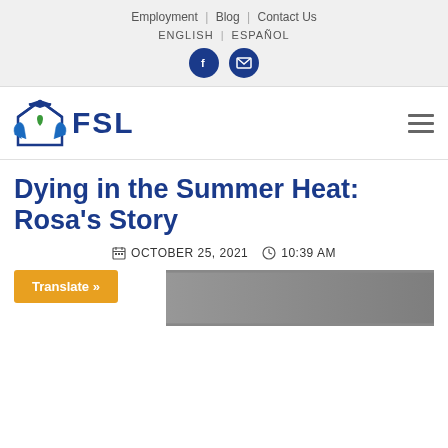Employment | Blog | Contact Us
ENGLISH | ESPAÑOL
[Figure (logo): FSL logo with hands holding a house icon and green heart, text FSL in bold dark blue]
Dying in the Summer Heat: Rosa's Story
OCTOBER 25, 2021   10:39 AM
Translate »